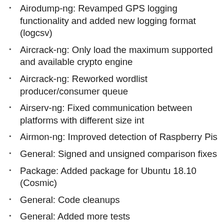Airodump-ng: Revamped GPS logging functionality and added new logging format (logcsv)
Aircrack-ng: Only load the maximum supported and available crypto engine
Aircrack-ng: Reworked wordlist producer/consumer queue
Airserv-ng: Fixed communication between platforms with different size int
Airmon-ng: Improved detection of Raspberry Pis
General: Signed and unsigned comparison fixes
Package: Added package for Ubuntu 18.10 (Cosmic)
General: Code cleanups
General: Added more tests
General: Compilation improvements/fixes in autotools
General: Big endian fixes
General: Fixed building on FreeBSD and OpenBSD
General: Added instructions to compile on DragonflyBSD and OpenBSD
General: Fixed spelling errors